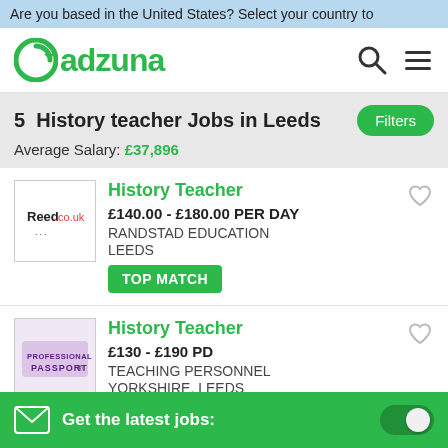Are you based in the United States? Select your country to
[Figure (logo): Adzuna logo - green circular arrow icon with 'adzuna' text in green]
5  History teacher Jobs in Leeds
Average Salary: £37,896
History Teacher
£140.00 - £180.00 PER DAY
RANDSTAD EDUCATION
LEEDS
TOP MATCH
History Teacher
£130 - £190 PD
TEACHING PERSONNEL
YORKSHIRE, LEEDS
Get the latest jobs: